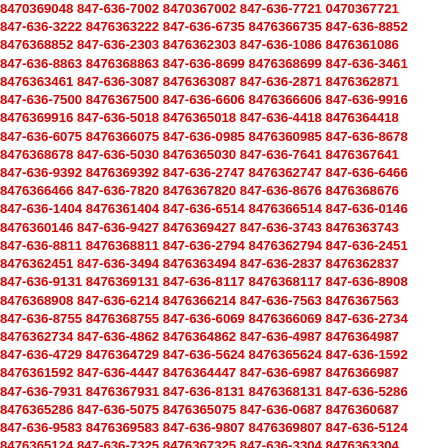8470369048 847-636-7002 8470367002 847-636-7721 0470367721 847-636-3222 8476363222 847-636-6735 8476366735 847-636-8852 8476368852 847-636-2303 8476362303 847-636-1086 8476361086 847-636-8863 8476368863 847-636-8699 8476368699 847-636-3461 8476363461 847-636-3087 8476363087 847-636-2871 8476362871 847-636-7500 8476367500 847-636-6606 8476366606 847-636-9916 8476369916 847-636-5018 8476365018 847-636-4418 8476364418 847-636-6075 8476366075 847-636-0985 8476360985 847-636-8678 8476368678 847-636-5030 8476365030 847-636-7641 8476367641 847-636-9392 8476369392 847-636-2747 8476362747 847-636-6466 8476366466 847-636-7820 8476367820 847-636-8676 8476368676 847-636-1404 8476361404 847-636-6514 8476366514 847-636-0146 8476360146 847-636-9427 8476369427 847-636-3743 8476363743 847-636-8811 8476368811 847-636-2794 8476362794 847-636-2451 8476362451 847-636-3494 8476363494 847-636-2837 8476362837 847-636-9131 8476369131 847-636-8117 8476368117 847-636-8908 8476368908 847-636-6214 8476366214 847-636-7563 8476367563 847-636-8755 8476368755 847-636-6069 8476366069 847-636-2734 8476362734 847-636-4862 8476364862 847-636-4987 8476364987 847-636-4729 8476364729 847-636-5624 8476365624 847-636-1592 8476361592 847-636-4447 8476364447 847-636-6987 8476366987 847-636-7931 8476367931 847-636-8131 8476368131 847-636-5286 8476365286 847-636-5075 8476365075 847-636-0687 8476360687 847-636-9583 8476369583 847-636-9807 8476369807 847-636-5124 8476365124 847-636-7325 8476367325 847-636-3304 8476363304 847-636-9883 8476369883 847-636-4364 8476364364 847-636-